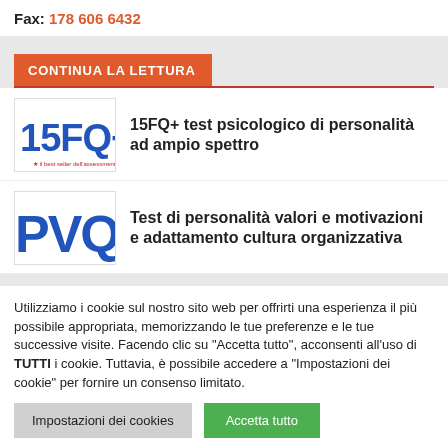Fax: 178 606 6432
CONTINUA LA LETTURA
15FQ+ test psicologico di personalità ad ampio spettro
Test di personalità valori e motivazioni e adattamento cultura organizzativa
Utilizziamo i cookie sul nostro sito web per offrirti una esperienza il più possibile appropriata, memorizzando le tue preferenze e le tue successive visite. Facendo clic su "Accetta tutto", acconsenti all'uso di TUTTI i cookie. Tuttavia, è possibile accedere a "Impostazioni dei cookie" per fornire un consenso limitato.
Impostazioni dei cookies
Accetta tutto